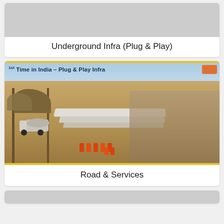[Figure (photo): Top card with grey image placeholder — cropped image of underground infrastructure]
Underground Infra (Plug & Play)
[Figure (photo): Aerial/ground-level photo of road construction site in India showing plug & play infra with pipes, concrete mixer truck, workers in orange vests, arid landscape, and yellow-bordered frame. Overlay text reads '1st Time in India – Plug & Play Infra'. Orange badge in top right corner.]
Road & Services
[Figure (photo): Bottom card with grey image placeholder — partial view of another infrastructure photo]